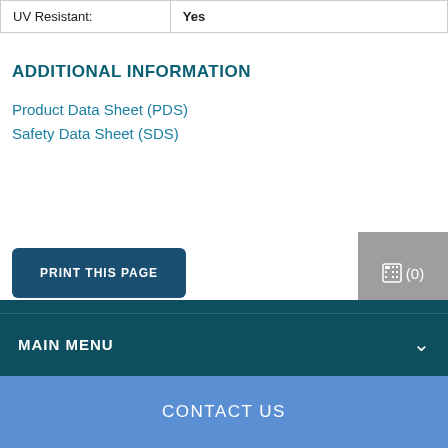| UV Resistant: | Yes |
ADDITIONAL INFORMATION
Product Data Sheet (PDS)
Safety Data Sheet (SDS)
PRINT THIS PAGE
(0)
MAIN MENU
CONTACT US